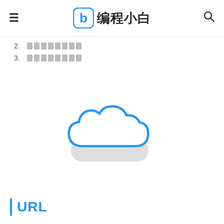≡ 编程小白 🔍
2. ████████
3. ████████
[Figure (illustration): A blue and white cloud icon illustration, with a blue outline cloud shape on top and a light gray shadow/base cloud shape below.]
URL